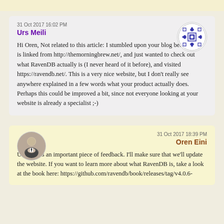31 Oct 2017 16:02 PM
Urs Meili
Hi Oren, Not related to this article: I stumbled upon your blog because it is linked from http://themorningbrew.net/, and just wanted to check out what RavenDB actually is (I never heard of it before), and visited https://ravendb.net/. This is a very nice website, but I don't really see anywhere explained in a few words what your product actually does. Perhaps this could be improved a bit, since not everyone looking at your website is already a specialist ;-)
31 Oct 2017 18:39 PM
Oren Eini
Urs, that is an important piece of feedback. I'll make sure that we'll update the website. If you want to learn more about what RavenDB is, take a look at the book here: https://github.com/ravendb/book/releases/tag/v4.0.6-